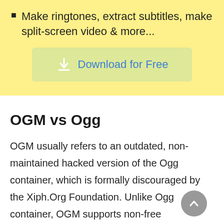Make ringtones, extract subtitles, make split-screen video & more...
[Figure (other): Download for Free button with download icon on yellow-green background]
OGM vs Ogg
OGM usually refers to an outdated, non-maintained hacked version of the Ogg container, which is formally discouraged by the Xiph.Org Foundation. Unlike Ogg container, OGM supports non-free